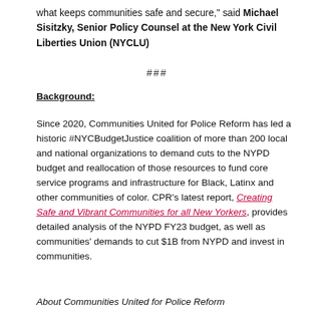what keeps communities safe and secure," said Michael Sisitzky, Senior Policy Counsel at the New York Civil Liberties Union (NYCLU)
###
Background:
Since 2020, Communities United for Police Reform has led a historic #NYCBudgetJustice coalition of more than 200 local and national organizations to demand cuts to the NYPD budget and reallocation of those resources to fund core service programs and infrastructure for Black, Latinx and other communities of color. CPR's latest report, Creating Safe and Vibrant Communities for all New Yorkers, provides detailed analysis of the NYPD FY23 budget, as well as communities' demands to cut $1B from NYPD and invest in communities.
About Communities United for Police Reform